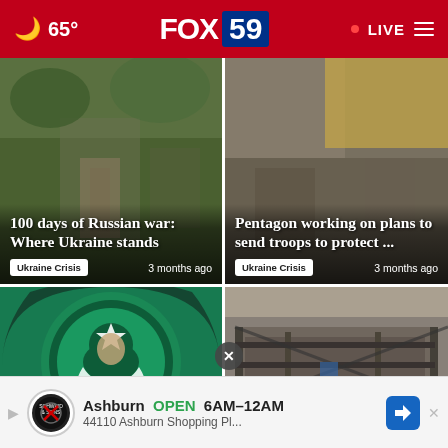🌙 65°  FOX 59  • LIVE ☰
[Figure (photo): News card photo: soldier/person in warzone street scene with greenery. Headline: 100 days of Russian war: Where Ukraine stands. Tag: Ukraine Crisis. Time: 3 months ago]
[Figure (photo): News card photo: market/shop scene. Headline: Pentagon working on plans to send troops to protect .... Tag: Ukraine Crisis. Time: 3 months ago]
[Figure (photo): News card bottom-left: Starbucks siren logo on green background. Headline: Starbucks leaving Russia, shutting stores]
[Figure (photo): News card bottom-right: burned/destroyed building structure. Partial headline visible: ...ine, ...ReceIves buy]
[Figure (infographic): Advertisement banner: Ashburn  OPEN 6AM-12AM  44110 Ashburn Shopping Pl... with Schweid & Sons logo and blue navigation icon]